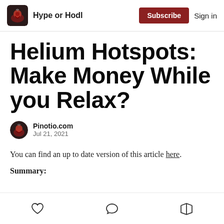Hype or Hodl  Subscribe  Sign in
Helium Hotspots: Make Money While you Relax?
Pinotio.com
Jul 21, 2021
You can find an up to date version of this article here.
Summary: